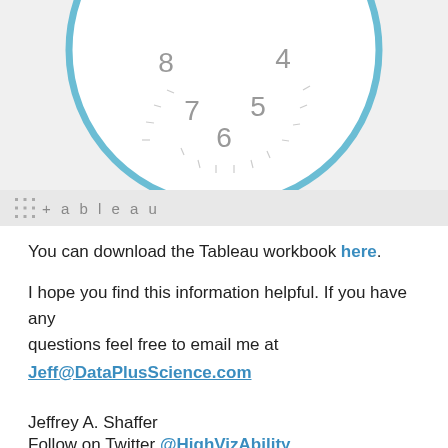[Figure (other): Partial clock face (bottom half visible) with blue circular border, showing numbers 4, 5, 6, 7, 8 and tick marks on a light gray background]
[Figure (logo): Tableau logo: grid/hash icon followed by '+tableau' text in gray with letter-spacing]
You can download the Tableau workbook here.
I hope you find this information helpful. If you have any questions feel free to email me at Jeff@DataPlusScience.com
Jeffrey A. Shaffer
Follow on Twitter @HighVizAbility